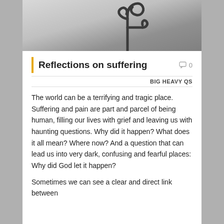[Figure (photo): Black and white photo of a decorative metal curled hook or bracket, close-up, blurred background]
Reflections on suffering
💬 0
BIG HEAVY QS
The world can be a terrifying and tragic place. Suffering and pain are part and parcel of being human, filling our lives with grief and leaving us with haunting questions. Why did it happen? What does it all mean? Where now? And a question that can lead us into very dark, confusing and fearful places: Why did God let it happen?
Sometimes we can see a clear and direct link between